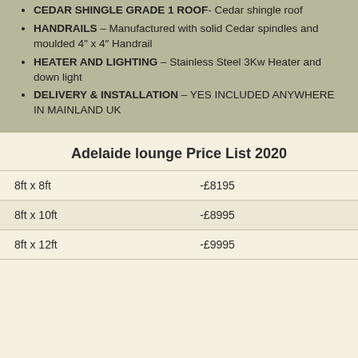CEDAR SHINGLE GRADE 1 ROOF- Cedar shingle roof
HANDRAILS – Manufactured with solid Cedar spindles and moulded 4" x 4" Handrail
HEATER AND LIGHTING – Stainless Steel 3Kw Heater and down light
DELIVERY & INSTALLATION – YES INCLUDED ANYWHERE IN MAINLAND UK
Adelaide lounge Price List 2020
| Size | Price |
| --- | --- |
| 8ft x 8ft | -£8195 |
| 8ft x 10ft | -£8995 |
| 8ft x 12ft | -£9995 |